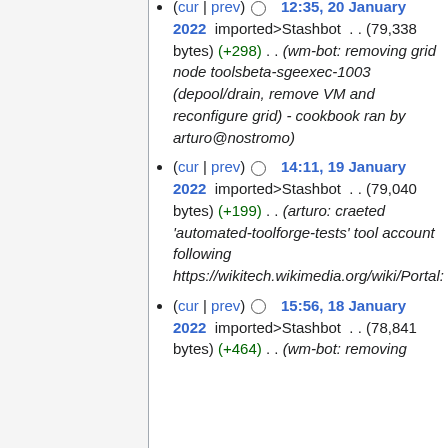(cur | prev) ○ 12:35, 20 January 2022 imported>Stashbot . . (79,338 bytes) (+298) . . (wm-bot: removing grid node toolsbeta-sgeexec-1003 (depool/drain, remove VM and reconfigure grid) - cookbook ran by arturo@nostromo)
(cur | prev) ○ 14:11, 19 January 2022 imported>Stashbot . . (79,040 bytes) (+199) . . (arturo: craeted 'automated-toolforge-tests' tool account following https://wikitech.wikimedia.org/wiki/Portal:Toolforge/Admin/Toolsbeta#create_a_tool_account_in_toolsbeta)
(cur | prev) ○ 15:56, 18 January 2022 imported>Stashbot . . (78,841 bytes) (+464) . . (wm-bot: removing